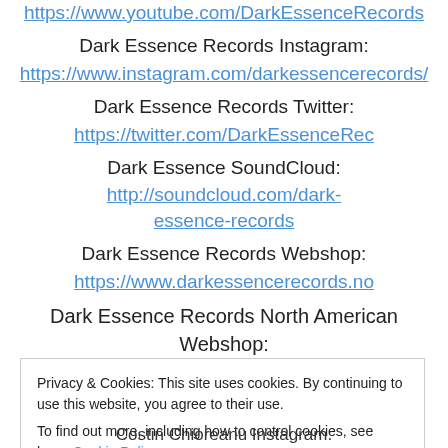https://www.youtube.com/DarkEssenceRecords
Dark Essence Records Instagram:
https://www.instagram.com/darkessencerecords/
Dark Essence Records Twitter:
https://twitter.com/DarkEssenceRec
Dark Essence SoundCloud: http://soundcloud.com/dark-essence-records
Dark Essence Records Webshop:
https://www.darkessencerecords.no
Dark Essence Records North American Webshop:
http://darkessence.aisamerch.com/
Privacy & Cookies: This site uses cookies. By continuing to use this website, you agree to their use.
To find out more, including how to control cookies, see here: Cookie Policy
Close and accept
Costin Chioreanu Instagram: